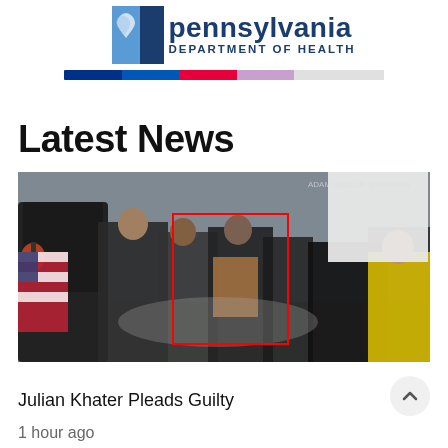[Figure (logo): Pennsylvania Department of Health logo with state keystone icon and color bar]
Latest News
[Figure (photo): News image showing crowd scene with people, an American flag, and red rectangle overlay markings, appears to be from January 6 Capitol event footage]
Julian Khater Pleads Guilty
1 hour ago